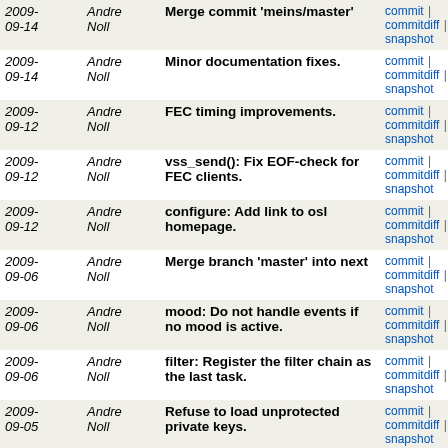| Date | Author | Message | Links |
| --- | --- | --- | --- |
| 2009-09-14 | Andre Noll | Merge commit 'meins/master' | commit | commitdiff | tree | snapshot |
| 2009-09-14 | Andre Noll | Minor documentation fixes. | commit | commitdiff | tree | snapshot |
| 2009-09-12 | Andre Noll | FEC timing improvements. | commit | commitdiff | tree | snapshot |
| 2009-09-12 | Andre Noll | vss_send(): Fix EOF-check for FEC clients. | commit | commitdiff | tree | snapshot |
| 2009-09-12 | Andre Noll | configure: Add link to osl homepage. | commit | commitdiff | tree | snapshot |
| 2009-09-06 | Andre Noll | Merge branch 'master' into next | commit | commitdiff | tree | snapshot |
| 2009-09-06 | Andre Noll | mood: Do not handle events if no mood is active. | commit | commitdiff | tree | snapshot |
| 2009-09-06 | Andre Noll | filter: Register the filter chain as the last task. | commit | commitdiff | tree | snapshot |
| 2009-09-05 | Andre Noll | Refuse to load unprotected private keys. | commit | commitdiff | tree | snapshot |
| 2009-09-05 | Andre Noll | Use RSA key blinding to protect against timing attacks. | commit | commitdiff | tree | snapshot |
| 2009-09-04 | Andre Noll | Merge commit 'meins/next' into next | commit | commitdiff | tree | snapshot |
| 2009-09-04 | Andre Noll | Merge branch 'master' into next | commit | commitdiff | tree | snapshot |
| 2009-09-04 | Andre Noll | Fix check for short rsa keys. | commit | commitdiff | tree | snapshot |
| 2009- | Andre | Merge branch 'master' into next | commit | commitdiff | tree | |